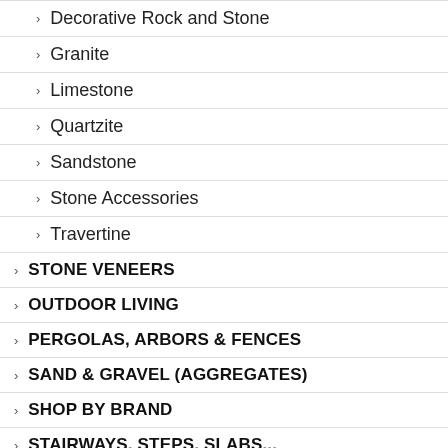> Decorative Rock and Stone
> Granite
> Limestone
> Quartzite
> Sandstone
> Stone Accessories
> Travertine
> STONE VENEERS
> OUTDOOR LIVING
> PERGOLAS, ARBORS & FENCES
> SAND & GRAVEL (Aggregates)
> SHOP BY BRAND
> STAIRWAYS, STEPS, SLABS...
> TOOLS & SUPPLIES
> WINTER PRODUCTS